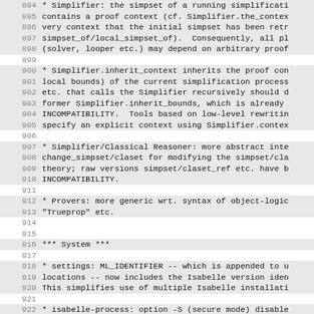894   * Simplifier: the simpset of a running simplificati
895   contains a proof context (cf. Simplifier.the_contex
896   very context that the initial simpset has been retr
897   simpset_of/local_simpset_of). Consequently, all pl
898   (solver, looper etc.) may depend on arbitrary proof
899
900   * Simplifier.inherit_context inherits the proof con
901   local bounds) of the current simplification process
902   etc. that calls the Simplifier recursively should d
903   former Simplifier.inherit_bounds, which is already
904   INCOMPATIBILITY. Tools based on low-level rewritin
905   specify an explicit context using Simplifier.contex
906
907   * Simplifier/Classical Reasoner: more abstract inte
908   change_simpset/claset for modifying the simpset/cla
909   theory; raw versions simpset/claset_ref etc. have b
910   INCOMPATIBILITY.
911
912   * Provers: more generic wrt. syntax of object-logic
913   "Trueprop" etc.
914
915
916   *** System ***
917
918   * settings: ML_IDENTIFIER -- which is appended to u
919   locations -- now includes the Isabelle version iden
920   This simplifies use of multiple Isabelle installati
921
922   * isabelle-process: option -S (secure mode) disable
923   operations, notably runtime compilation and evaluat
924   code.
925